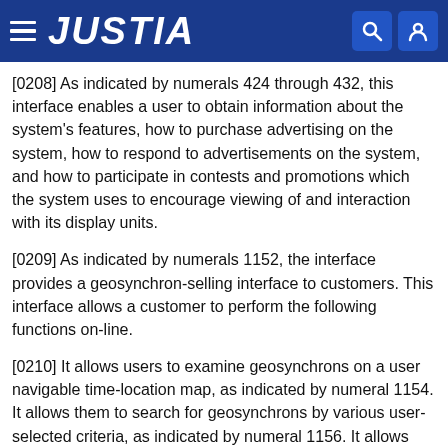JUSTIA
[0208] As indicated by numerals 424 through 432, this interface enables a user to obtain information about the system's features, how to purchase advertising on the system, how to respond to advertisements on the system, and how to participate in contests and promotions which the system uses to encourage viewing of and interaction with its display units.
[0209] As indicated by numerals 1152, the interface provides a geosynchron-selling interface to customers. This interface allows a customer to perform the following functions on-line.
[0210] It allows users to examine geosynchrons on a user navigable time-location map, as indicated by numeral 1154. It allows them to search for geosynchrons by various user-selected criteria, as indicated by numeral 1156. It allows them to select the...